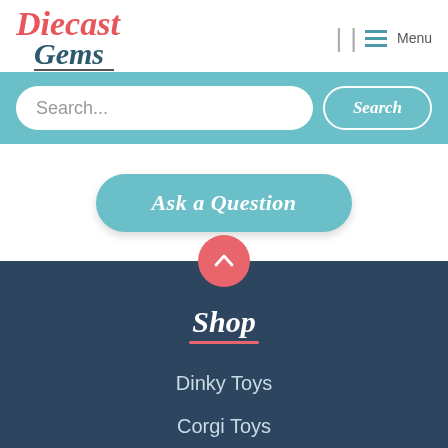[Figure (logo): Diecast Gems logo with red italic 'Diecast' text and dark teal 'Gems' text below, with underline]
[Figure (infographic): Navigation bar icons: two vertical separator bars and a hamburger menu icon with 'Menu' label]
[Figure (screenshot): Teal search bar with white rounded search input field placeholder 'Search...' and white-bordered teal 'Search' button]
[Figure (infographic): Teal rounded pill button with italic white text 'Ask a Question']
[Figure (infographic): Pink/coral circular scroll-to-top button with upward chevron arrow]
Shop
Dinky Toys
Corgi Toys